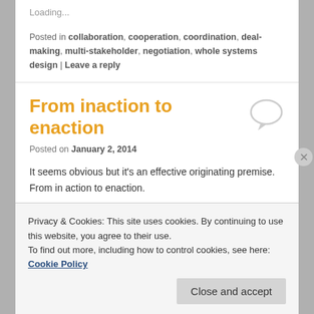Loading...
Posted in collaboration, cooperation, coordination, deal-making, multi-stakeholder, negotiation, whole systems design | Leave a reply
From inaction to enaction
Posted on January 2, 2014
It seems obvious but it’s an effective originating premise. From in action to enaction.
Privacy & Cookies: This site uses cookies. By continuing to use this website, you agree to their use. To find out more, including how to control cookies, see here: Cookie Policy